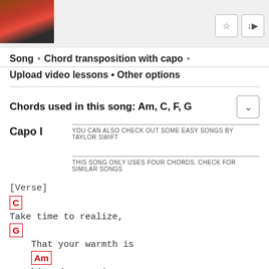[Figure (photo): Thumbnail image of a person wearing a red top, partially visible at top left]
Song • Chord transposition with capo •
Upload video lessons • Other options
Chords used in this song: Am, C, F, G
Capo I
YOU CAN ALSO CHECK OUT SOME EASY SONGS BY TAYLOR SWIFT
THIS SONG ONLY USES FOUR CHORDS. CHECK FOR SIMILAR SONGS
[Verse]
C
Take time to realize,
G
    That your warmth is
Am
crashing down on in.
C